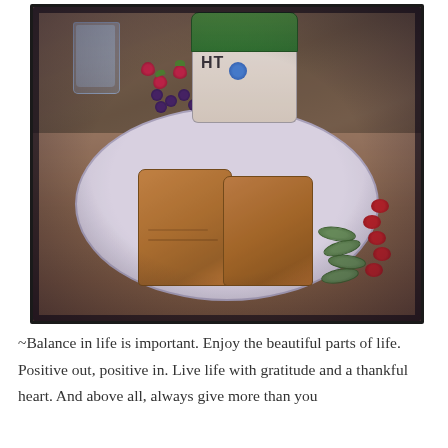[Figure (photo): A plate of food with a sandwich cut in half (toasted whole wheat bread), strawberries, blueberries, cherry tomatoes, cucumber slices, a water glass, and a yogurt container with green lid on a wooden table. Photo has an Instagram-style purple/vintage filter.]
~Balance in life is important. Enjoy the beautiful parts of life. Positive out, positive in. Live life with gratitude and a thankful heart. And above all, always give more than you